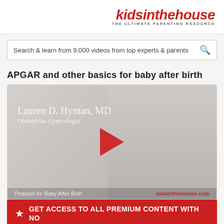kidsinthehouse THE ULTIMATE PARENTING RESOURCE
Search & learn from 9,000 videos from top experts & parents
APGAR and other basics for baby after birth
[Figure (screenshot): Video thumbnail showing Lauren D. Hyman, MD, Obstetrician Gynecologist. A red play button is centered on the image. Bottom bar reads 'Protocol for Baby After Birth' and 'kidsinthehouse.com' watermark.]
GET ACCESS TO ALL PREMIUM CONTENT WITH NO